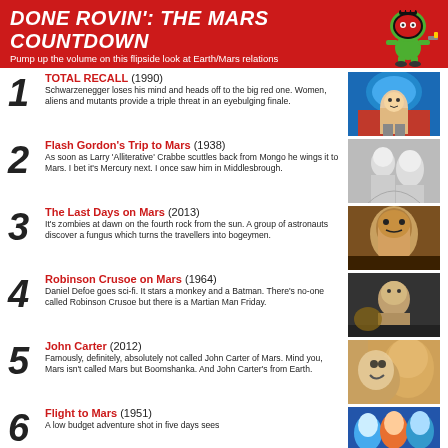DONE ROVIN': THE MARS COUNTDOWN
Pump up the volume on this flipside look at Earth/Mars relations
1 TOTAL RECALL (1990) — Schwarzenegger loses his mind and heads off to the big red one. Women, aliens and mutants provide a triple threat in an eyebulging finale.
2 Flash Gordon's Trip to Mars (1938) — As soon as Larry 'Alliterative' Crabbe scuttles back from Mongo he wings it to Mars. I bet it's Mercury next. I once saw him in Middlesbrough.
3 The Last Days on Mars (2013) — It's zombies at dawn on the fourth rock from the sun. A group of astronauts discover a fungus which turns the travellers into bogeymen.
4 Robinson Crusoe on Mars (1964) — Daniel Defoe goes sci-fi. It stars a monkey and a Batman. There's no-one called Robinson Crusoe but there is a Martian Man Friday.
5 John Carter (2012) — Famously, definitely, absolutely not called John Carter of Mars. Mind you, Mars isn't called Mars but Boomshanka. And John Carter's from Earth.
6 Flight to Mars (1951) — A low budget adventure shot in five days sees